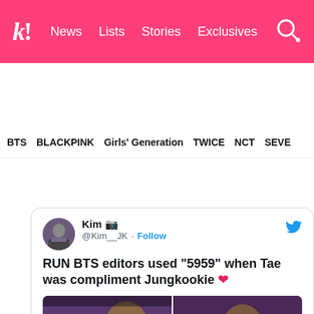k! News Lists Stories Exclusives
BTS BLACKPINK Girls' Generation TWICE NCT SEVE
[Figure (screenshot): Embedded tweet from @Kim__JK showing RUN BTS editors used 5959 when Tae was complimenting Jungkookie, with images from the show and explanatory text about 5959 being a term of affection]
RUN BTS editors used "5959" when Tae was compliment Jungkookie ❤
I already answered this in the original post, but here is it copy pasta'd:
5959 is a term of affection used by Jongsuk, it sounds like 오구오구 (oguogu) in Korean, like cooing cutely at a baby or someone you love; kind of sounds like friend
1:40 PM · May 11, 2021